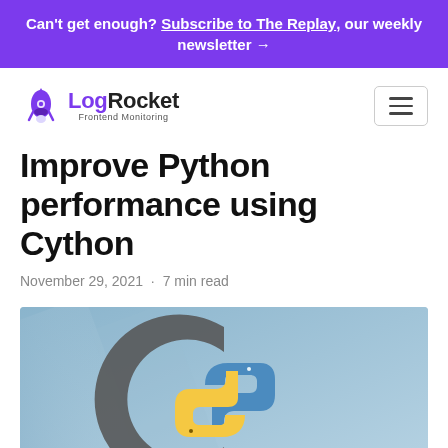Can't get enough? Subscribe to The Replay, our weekly newsletter →
[Figure (logo): LogRocket Frontend Monitoring logo with rocket icon in purple]
Improve Python performance using Cython
November 29, 2021 · 7 min read
[Figure (illustration): Cython logo: dark grey letter C with Python snake logo (blue and yellow) in the center, on a light blue background]